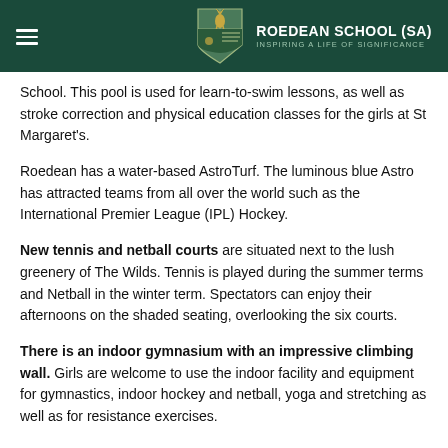ROEDEAN SCHOOL (SA) — INSPIRING A LIFE OF SIGNIFICANCE
School. This pool is used for learn-to-swim lessons, as well as stroke correction and physical education classes for the girls at St Margaret's.
Roedean has a water-based AstroTurf. The luminous blue Astro has attracted teams from all over the world such as the International Premier League (IPL) Hockey.
New tennis and netball courts are situated next to the lush greenery of The Wilds. Tennis is played during the summer terms and Netball in the winter term. Spectators can enjoy their afternoons on the shaded seating, overlooking the six courts.
There is an indoor gymnasium with an impressive climbing wall. Girls are welcome to use the indoor facility and equipment for gymnastics, indoor hockey and netball, yoga and stretching as well as for resistance exercises.